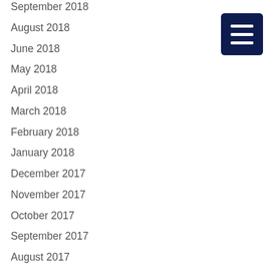September 2018
August 2018
June 2018
May 2018
April 2018
March 2018
February 2018
January 2018
December 2017
November 2017
October 2017
September 2017
August 2017
May 2017
March 2017